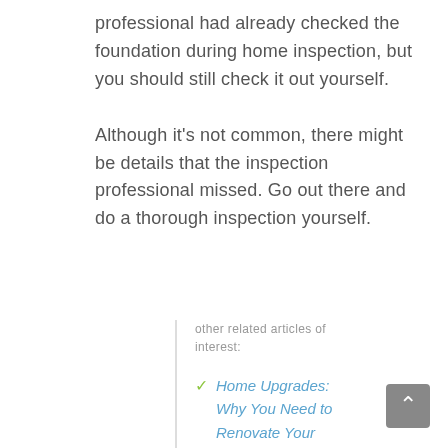professional had already checked the foundation during home inspection, but you should still check it out yourself.
Although it's not common, there might be details that the inspection professional missed. Go out there and do a thorough inspection yourself.
other related articles of interest:
Home Upgrades: Why You Need to Renovate Your Kitchen and